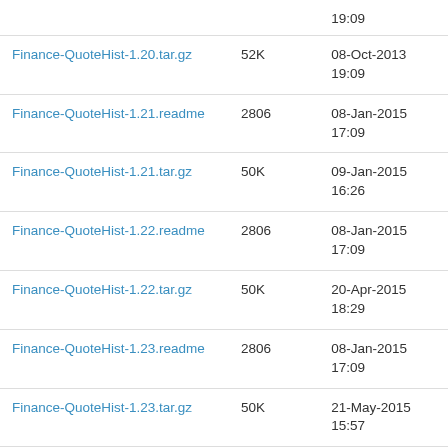| Name | Size | Date |
| --- | --- | --- |
|  |  | 19:09 |
| Finance-QuoteHist-1.20.tar.gz | 52K | 08-Oct-2013
19:09 |
| Finance-QuoteHist-1.21.readme | 2806 | 08-Jan-2015
17:09 |
| Finance-QuoteHist-1.21.tar.gz | 50K | 09-Jan-2015
16:26 |
| Finance-QuoteHist-1.22.readme | 2806 | 08-Jan-2015
17:09 |
| Finance-QuoteHist-1.22.tar.gz | 50K | 20-Apr-2015
18:29 |
| Finance-QuoteHist-1.23.readme | 2806 | 08-Jan-2015
17:09 |
| Finance-QuoteHist-1.23.tar.gz | 50K | 21-May-2015
15:57 |
| Finance-QuoteHist-1.24.readme | 2806 | 08-Jan-2015
17:09 |
| Finance-QuoteHist-1.24.tar.gz | 50K | 03-Aug-2015
20:09 |